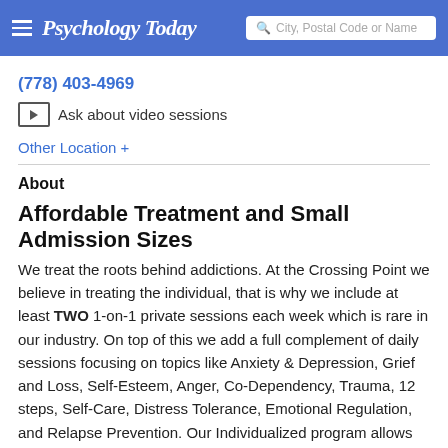Psychology Today — City, Postal Code or Name
(778) 403-4969
Ask about video sessions
Other Location +
About
Affordable Treatment and Small Admission Sizes
We treat the roots behind addictions. At the Crossing Point we believe in treating the individual, that is why we include at least TWO 1-on-1 private sessions each week which is rare in our industry. On top of this we add a full complement of daily sessions focusing on topics like Anxiety & Depression, Grief and Loss, Self-Esteem, Anger, Co-Dependency, Trauma, 12 steps, Self-Care, Distress Tolerance, Emotional Regulation, and Relapse Prevention. Our Individualized program allows us to